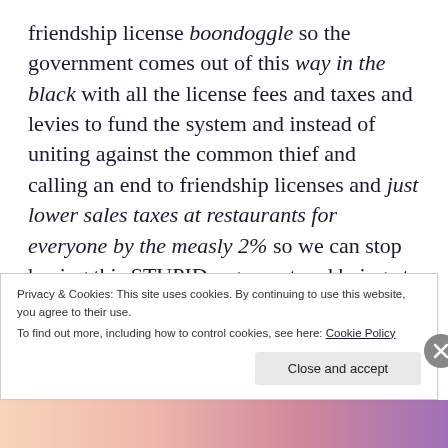friendship license boondoggle so the government comes out of this way in the black with all the license fees and taxes and levies to fund the system and instead of uniting against the common thief and calling an end to friendship licenses and just lower sales taxes at restaurants for everyone by the measly 2% so we can stop having this STUPID argument and being at each other's THROATS, we fight with each other about who gets to have the stupid licenses and who doesn't.
Privacy & Cookies: This site uses cookies. By continuing to use this website, you agree to their use. To find out more, including how to control cookies, see here: Cookie Policy